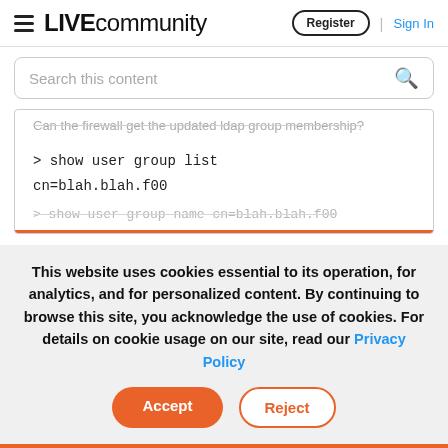LIVE community  Register | Sign In
Search this content
Can the firewall get the updated ldap group membership?
> show user group list
cn=blah.blah.f00
> show user group name cn=blah.blah.f00
This website uses cookies essential to its operation, for analytics, and for personalized content. By continuing to browse this site, you acknowledge the use of cookies. For details on cookie usage on our site, read our Privacy Policy